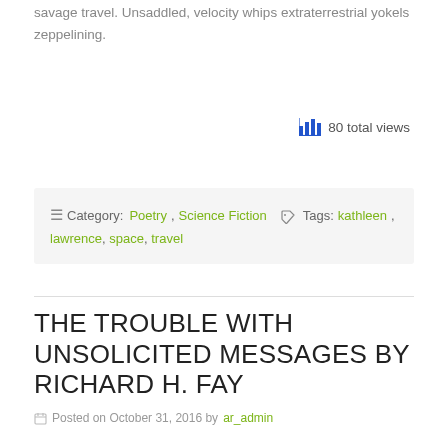savage travel. Unsaddled, velocity whips extraterrestrial yokels zeppelining.
80 total views
☰ Category: Poetry, Science Fiction  🏷 Tags: kathleen, lawrence, space, travel
THE TROUBLE WITH UNSOLICITED MESSAGES BY RICHARD H. FAY
Posted on October 31, 2016 by ar_admin